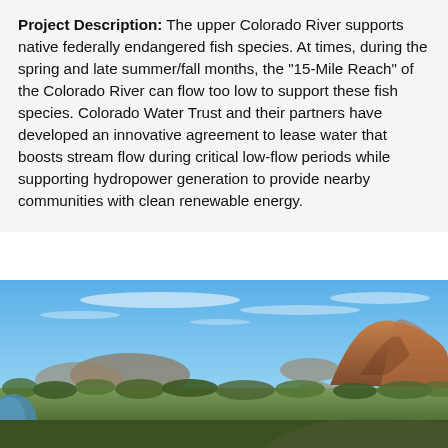Project Description: The upper Colorado River supports native federally endangered fish species. At times, during the spring and late summer/fall months, the "15-Mile Reach" of the Colorado River can flow too low to support these fish species. Colorado Water Trust and their partners have developed an innovative agreement to lease water that boosts stream flow during critical low-flow periods while supporting hydropower generation to provide nearby communities with clean renewable energy.
[Figure (photo): Aerial landscape photo showing a river valley with a large rocky mountain/butte in the background under a blue sky with scattered clouds. Desert scrubland vegetation fills the foreground and a river winds through the left side of the image.]